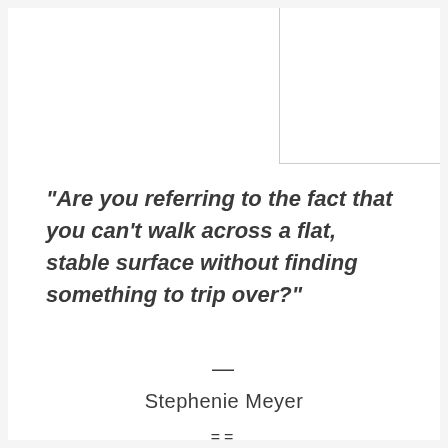“Are you referring to the fact that you can’t walk across a flat, stable surface without finding something to trip over?”
—
Stephenie Meyer
==